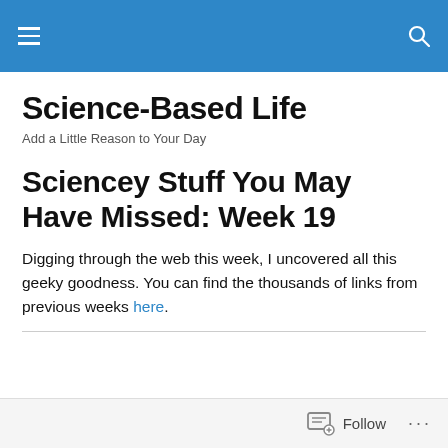Science-Based Life
Science-Based Life
Add a Little Reason to Your Day
Sciencey Stuff You May Have Missed: Week 19
Digging through the web this week, I uncovered all this geeky goodness. You can find the thousands of links from previous weeks here.
Follow